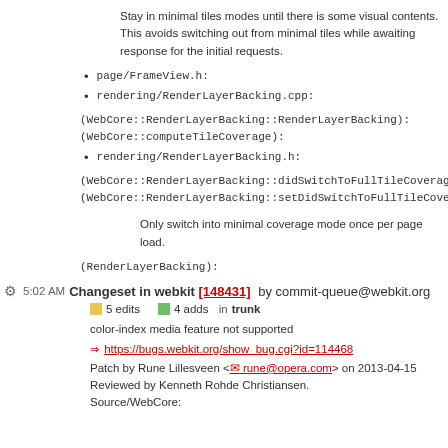Stay in minimal tiles modes until there is some visual contents. This avoids switching out from minimal tiles while awaiting response for the initial requests.
page/FrameView.h:
rendering/RenderLayerBacking.cpp:
(WebCore::RenderLayerBacking::RenderLayerBacking):
(WebCore::computeTileCoverage):
rendering/RenderLayerBacking.h:
(WebCore::RenderLayerBacking::didSwitchToFullTileCoverageDuringLoading):
(WebCore::RenderLayerBacking::setDidSwitchToFullTileCoverageDuringLoadin
Only switch into minimal coverage mode once per page load.
(RenderLayerBacking):
5:02 AM Changeset in webkit [148431] by commit-queue@webkit.org
5 edits   4 adds   in trunk
color-index media feature not supported
https://bugs.webkit.org/show_bug.cgi?id=114468
Patch by Rune Lillesveen <rune@opera.com> on 2013-04-15
Reviewed by Kenneth Rohde Christiansen.
Source/WebCore: